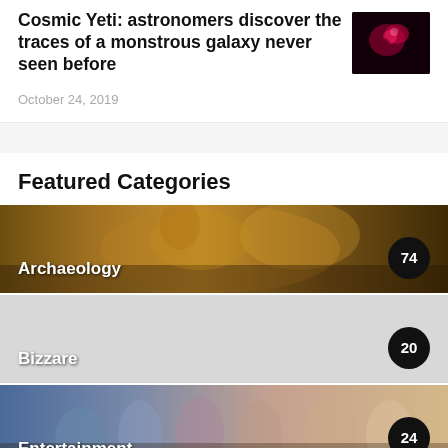Cosmic Yeti: astronomers discover the traces of a monstrous galaxy never seen before
October 24, 2019
Featured Categories
[Figure (photo): Archaeology category banner with mythological creature illustration, count badge showing 74]
[Figure (photo): Bizzare category banner, light gray background, count badge showing 20]
[Figure (photo): Entertainment category banner with group of young people drinking milkshakes, count badge showing 24]
[Figure (photo): Mystery category banner with dark corridor, count badge showing 800]